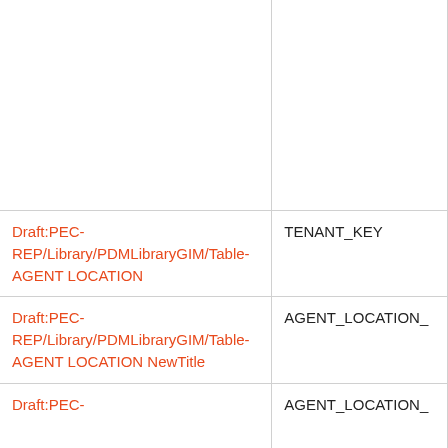|  |  |
| Draft:PEC-REP/Library/PDMLibraryGIM/Table-AGENT LOCATION | TENANT_KEY |
| Draft:PEC-REP/Library/PDMLibraryGIM/Table-AGENT LOCATION NewTitle | AGENT_LOCATION_ |
| Draft:PEC- | AGENT_LOCATION_ |